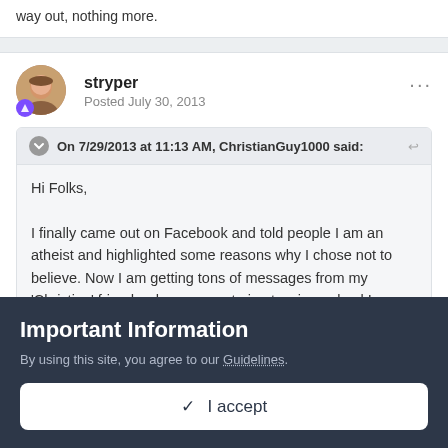way out, nothing more.
stryper
Posted July 30, 2013
On 7/29/2013 at 11:13 AM, ChristianGuy1000 said:
Hi Folks,

I finally came out on Facebook and told people I am an atheist and highlighted some reasons why I chose not to believe.  Now I am getting tons of messages from my 'Christian' friends who are now trying to win me back!
Important Information
By using this site, you agree to our Guidelines.
✓  I accept